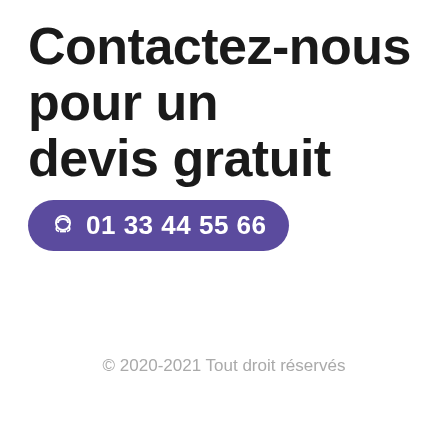Contactez-nous pour un devis gratuit
01 33 44 55 66
[Figure (other): Horizontal tricolor bar: red, purple, green]
© 2020-2021 Tout droit réservés